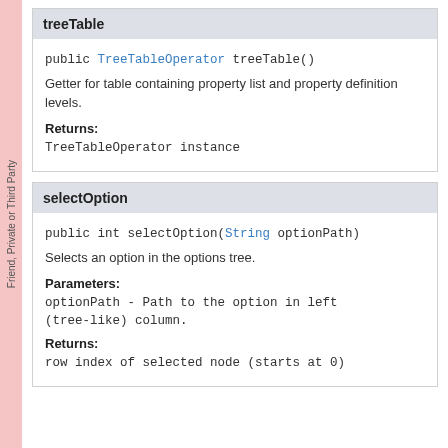treeTable
public TreeTableOperator treeTable()
Getter for table containing property list and property definition levels.
Returns:
TreeTableOperator instance
selectOption
public int selectOption(String optionPath)
Selects an option in the options tree.
Parameters:
optionPath - Path to the option in left (tree-like) column.
Returns:
row index of selected node (starts at 0)